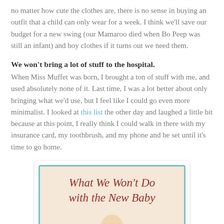no matter how cute the clothes are, there is no sense in buying an outfit that a child can only wear for a week. I think we'll save our budget for a new swing (our Mamaroo died when Bo Peep was still an infant) and boy clothes if it turns out we need them.
We won't bring a lot of stuff to the hospital.
When Miss Muffet was born, I brought a ton of stuff with me, and used absolutely none of it. Last time, I was a lot better about only bringing what we'd use, but I feel like I could go even more minimalist. I looked at this list the other day and laughed a little bit because at this point, I really think I could walk in there with my insurance card, my toothbrush, and my phone and be set until it's time to go home.
[Figure (illustration): Book cover image titled 'What We Won't Do with the New Baby' in italic red text on a beige background with a teal border, with a small illustration of a baby's head at the bottom.]